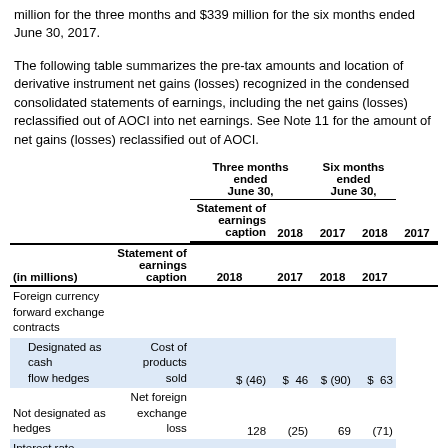million for the three months and $339 million for the six months ended June 30, 2017.
The following table summarizes the pre-tax amounts and location of derivative instrument net gains (losses) recognized in the condensed consolidated statements of earnings, including the net gains (losses) reclassified out of AOCI into net earnings. See Note 11 for the amount of net gains (losses) reclassified out of AOCI.
| (in millions) | Statement of earnings caption | Three months ended June 30, 2018 | Three months ended June 30, 2017 | Six months ended June 30, 2018 | Six months ended June 30, 2017 |
| --- | --- | --- | --- | --- | --- |
| Foreign currency forward exchange contracts |  |  |  |  |  |
| Designated as cash flow hedges | Cost of products sold | $ (46) | $ 46 | $ (90) | $ 63 |
| Not designated as hedges | Net foreign exchange loss | 128 | (25) | 69 | (71) |
| Interest rate swaps designated as fair value hedges | Interest expense, net | (59) | 47 | (243) | 32 |
| Debt designated as |  |  |  |  |  |